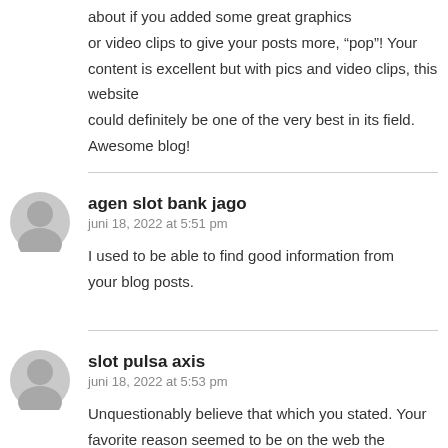about if you added some great graphics or video clips to give your posts more, “pop”! Your content is excellent but with pics and video clips, this website could definitely be one of the very best in its field. Awesome blog!
agen slot bank jago
juni 18, 2022 at 5:51 pm
I used to be able to find good information from your blog posts.
slot pulsa axis
juni 18, 2022 at 5:53 pm
Unquestionably believe that which you stated. Your favorite reason seemed to be on the web the easiest thing to be aware of. I say to you, I certainly